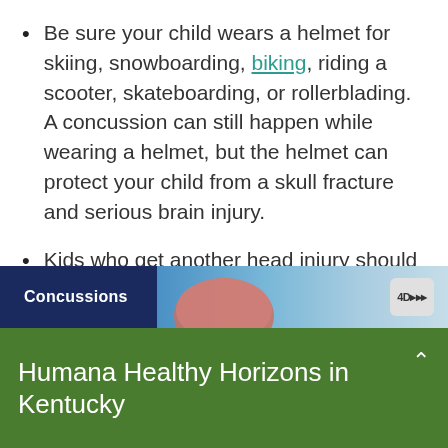Be sure your child wears a helmet for skiing, snowboarding, biking, riding a scooter, skateboarding, or rollerblading. A concussion can still happen while wearing a helmet, but the helmet can protect your child from a skull fracture and serious brain injury.
Kids who get another head injury should never ignore symptoms or try to "tough it out." They need to stop the sport or activity they are doing and get medical care right away.
[Figure (screenshot): Video thumbnail showing 'Concussions' label on dark blue background with a head/brain image and a video player icon]
Humana Healthy Horizons in Kentucky